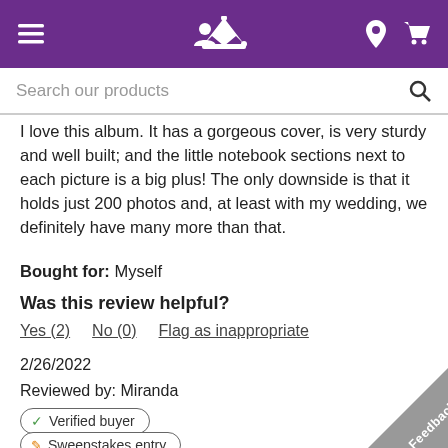Navigation bar with menu, user, crown logo, location, cart icons
Search our products
I love this album. It has a gorgeous cover, is very sturdy and well built; and the little notebook sections next to each picture is a big plus! The only downside is that it holds just 200 photos and, at least with my wedding, we definitely have many more than that.
Bought for: Myself
Was this review helpful?
Yes (2)   No (0)   Flag as inappropriate
2/26/2022
Reviewed by: Miranda
✓ Verified buyer
✏ Sweepstakes entry